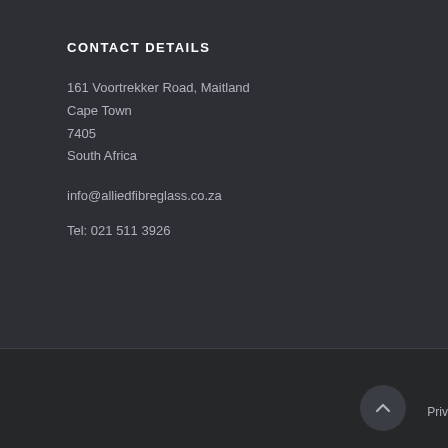CONTACT DETAILS
161 Voortrekker Road, Maitland
Cape Town
7405
South Africa
info@alliedfibreglass.co.za
Tel: 021 511 3926
Priv